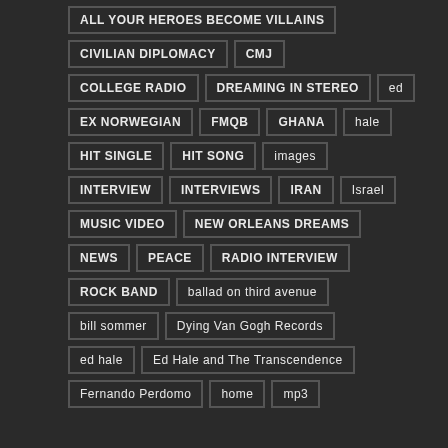ALL YOUR HEROES BECOME VILLAINS
CIVILIAN DIPLOMACY
CMJ
COLLEGE RADIO
DREAMING IN STEREO
ed
EX NORWEGIAN
FMQB
GHANA
hale
HIT SINGLE
HIT SONG
images
INTERVIEW
INTERVIEWS
IRAN
Israel
MUSIC VIDEO
NEW ORLEANS DREAMS
NEWS
PEACE
RADIO INTERVIEW
ROCK BAND
ballad on third avenue
bill sommer
Dying Van Gogh Records
ed hale
Ed Hale and The Transcendence
Fernando Perdomo
home
mp3